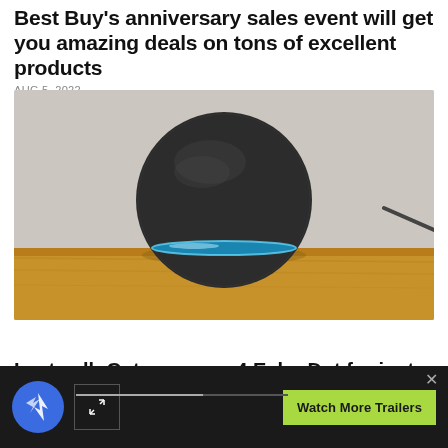Best Buy's anniversary sales event will get you amazing deals on tons of excellent products
AUG 5, 2022
[Figure (photo): Amazon Echo Dot (4th generation) smart speaker, round spherical dark charcoal color with blue ring light at base, sitting on a wooden shelf against a light grey wall]
DEALS
Last call: Get your gen-4 Echo Dot for just $20!
[Figure (screenshot): Video player overlay bar at bottom of page showing a blue circular logo with arrow/shatter icon, expand arrows button, progress bar, Watch More Trailers green button, and X close button on dark background]